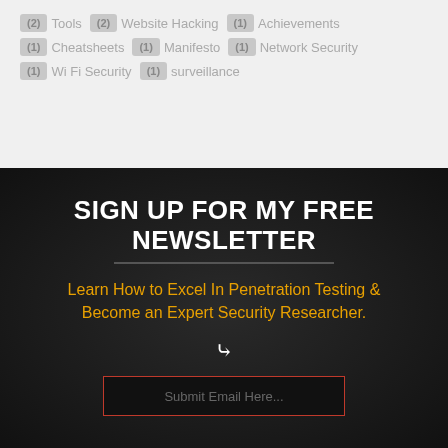(2) Tools
(2) Website Hacking
(1) Achievements
(1) Cheatsheets
(1) Manifesto
(1) Network Security
(1) Wi Fi Security
(1) surveillance
SIGN UP FOR MY FREE NEWSLETTER
Learn How to Excel In Penetration Testing & Become an Expert Security Researcher.
Submit Email Here...